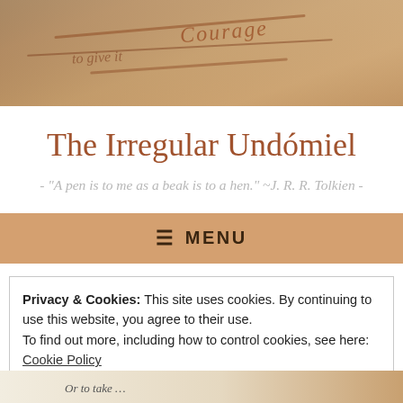[Figure (photo): Close-up photo of handwritten text on aged paper, showing cursive script with words including 'Courage' visible, warm brown/sepia tones]
The Irregular Undómiel
- "A pen is to me as a beak is to a hen." ~J. R. R. Tolkien -
☰ MENU
Privacy & Cookies: This site uses cookies. By continuing to use this website, you agree to their use.
To find out more, including how to control cookies, see here:
Cookie Policy
Close and accept
[Figure (photo): Partial view of a handwritten document, bottom strip showing cursive text 'Or to take...']